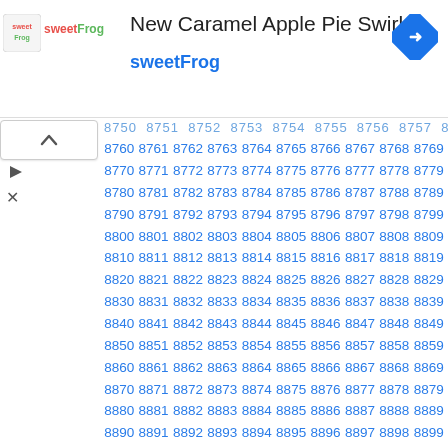New Caramel Apple Pie Swirl – sweetFrog
| 8750 | 8751 | 8752 | 8753 | 8754 | 8755 | 8756 | 8757 | 8758 | 8759 |
| 8760 | 8761 | 8762 | 8763 | 8764 | 8765 | 8766 | 8767 | 8768 | 8769 |
| 8770 | 8771 | 8772 | 8773 | 8774 | 8775 | 8776 | 8777 | 8778 | 8779 |
| 8780 | 8781 | 8782 | 8783 | 8784 | 8785 | 8786 | 8787 | 8788 | 8789 |
| 8790 | 8791 | 8792 | 8793 | 8794 | 8795 | 8796 | 8797 | 8798 | 8799 |
| 8800 | 8801 | 8802 | 8803 | 8804 | 8805 | 8806 | 8807 | 8808 | 8809 |
| 8810 | 8811 | 8812 | 8813 | 8814 | 8815 | 8816 | 8817 | 8818 | 8819 |
| 8820 | 8821 | 8822 | 8823 | 8824 | 8825 | 8826 | 8827 | 8828 | 8829 |
| 8830 | 8831 | 8832 | 8833 | 8834 | 8835 | 8836 | 8837 | 8838 | 8839 |
| 8840 | 8841 | 8842 | 8843 | 8844 | 8845 | 8846 | 8847 | 8848 | 8849 |
| 8850 | 8851 | 8852 | 8853 | 8854 | 8855 | 8856 | 8857 | 8858 | 8859 |
| 8860 | 8861 | 8862 | 8863 | 8864 | 8865 | 8866 | 8867 | 8868 | 8869 |
| 8870 | 8871 | 8872 | 8873 | 8874 | 8875 | 8876 | 8877 | 8878 | 8879 |
| 8880 | 8881 | 8882 | 8883 | 8884 | 8885 | 8886 | 8887 | 8888 | 8889 |
| 8890 | 8891 | 8892 | 8893 | 8894 | 8895 | 8896 | 8897 | 8898 | 8899 |
| 8900 | 8901 | 8902 | 8903 | 8904 | 8905 | 8906 | 8907 | 8908 | 8909 |
| 8910 | 8911 | 8912 | 8913 | 8914 | 8915 | 8916 | 8917 | 8918 | 8919 |
| 8920 | 8921 | 8922 | 8923 | 8924 | 8925 | 8926 | 8927 | 8928 | 8929 |